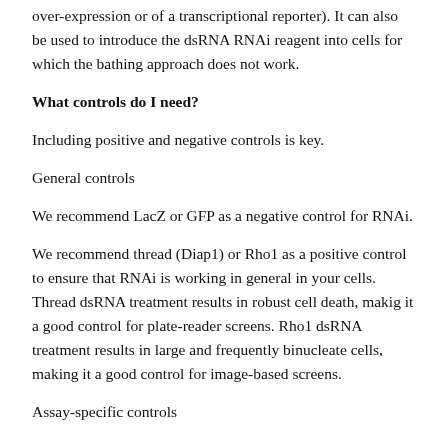over-expression or of a transcriptional reporter). It can also be used to introduce the dsRNA RNAi reagent into cells for which the bathing approach does not work.
What controls do I need?
Including positive and negative controls is key.
General controls
We recommend LacZ or GFP as a negative control for RNAi.
We recommend thread (Diap1) or Rho1 as a positive control to ensure that RNAi is working in general in your cells. Thread dsRNA treatment results in robust cell death, makig it a good control for plate-reader screens. Rho1 dsRNA treatment results in large and frequently binucleate cells, making it a good control for image-based screens.
Assay-specific controls